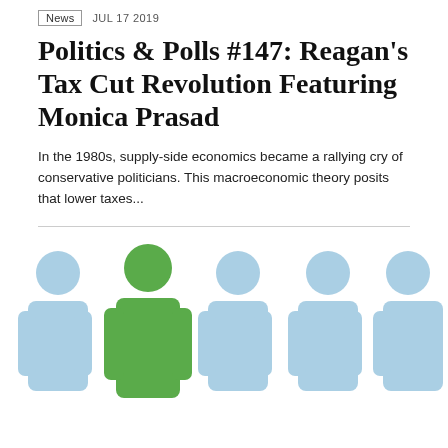News  JUL 17 2019
Politics & Polls #147: Reagan's Tax Cut Revolution Featuring Monica Prasad
In the 1980s, supply-side economics became a rallying cry of conservative politicians. This macroeconomic theory posits that lower taxes...
[Figure (infographic): Five person silhouette icons in a row, with the second figure from left highlighted in green and the other four in light blue, representing a statistical ratio (1 in 5).]